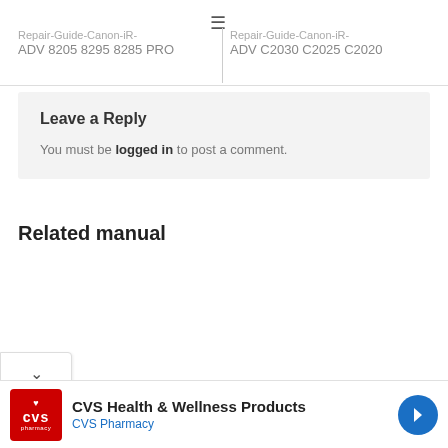Repair-Guide-Canon-iR-ADV 8205 8295 8285 PRO | Repair-Guide-Canon-iR-ADV C2030 C2025 C2020
Leave a Reply
You must be logged in to post a comment.
Related manual
CVS Health & Wellness Products
CVS Pharmacy